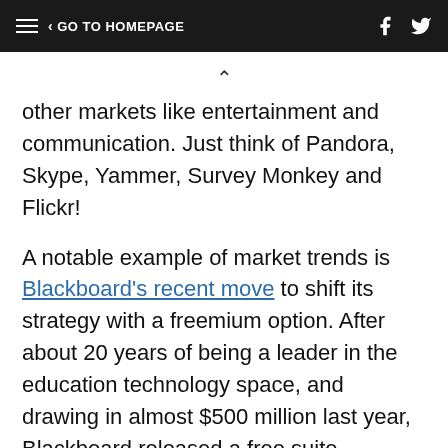GO TO HOMEPAGE
other markets like entertainment and communication. Just think of Pandora, Skype, Yammer, Survey Monkey and Flickr!
A notable example of market trends is Blackboard's recent move to shift its strategy with a freemium option. After about 20 years of being a leader in the education technology space, and drawing in almost $500 million last year, Blackboard released a free suite, CourseSites, that demonstrates a move toward the more typically "startup" mentality. The feasibility of